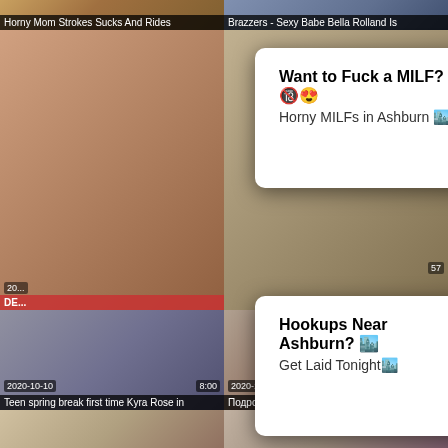[Figure (screenshot): Video thumbnail top-left partial: Horny Mom Strokes Sucks And Rides]
Horny Mom Strokes Sucks And Rides
[Figure (screenshot): Video thumbnail top-right partial: Brazzers - Sexy Babe Bella Rolland Is]
Brazzers - Sexy Babe Bella Rolland Is
[Figure (screenshot): Ad popup 1: Want to Fuck a MILF? Horny MILFs in Ashburn]
[Figure (screenshot): Ad popup 2: Hookups Near Ashburn? Get Laid Tonight]
[Figure (screenshot): Video thumbnail middle-left: Teen spring break first time Kyra Rose in, 2020-10-10, 8:00]
Teen spring break first time Kyra Rose in
[Figure (screenshot): Video thumbnail middle-right: Подросток с идеальной попкой, 2020-10-10, 22:46]
Подросток с идеальной попкой
[Figure (screenshot): Video thumbnail bottom-left partial]
[Figure (screenshot): Video thumbnail bottom-right partial]